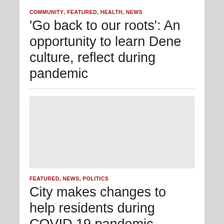COMMUNITY, FEATURED, HEALTH, NEWS
'Go back to our roots': An opportunity to learn Dene culture, reflect during pandemic
[Figure (photo): Placeholder image area (light gray rectangle)]
FEATURED, NEWS, POLITICS
City makes changes to help residents during COVID 19 pandemic